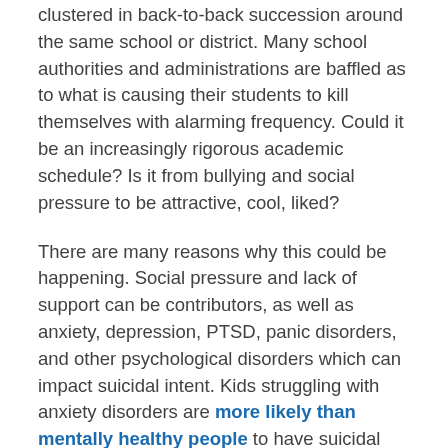clustered in back-to-back succession around the same school or district. Many school authorities and administrations are baffled as to what is causing their students to kill themselves with alarming frequency. Could it be an increasingly rigorous academic schedule? Is it from bullying and social pressure to be attractive, cool, liked?
There are many reasons why this could be happening. Social pressure and lack of support can be contributors, as well as anxiety, depression, PTSD, panic disorders, and other psychological disorders which can impact suicidal intent. Kids struggling with anxiety disorders are more likely than mentally healthy people to have suicidal thoughts, make suicide attempts, or complete suicide. When it comes to depression, according to researchers, a specific occurrence of hopelessness in depressed people